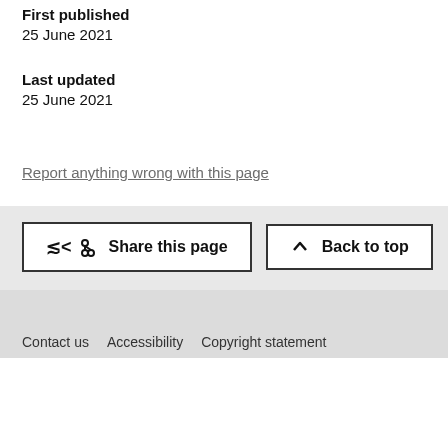First published
25 June 2021
Last updated
25 June 2021
Report anything wrong with this page
Share this page
Back to top
Contact us   Accessibility   Copyright statement